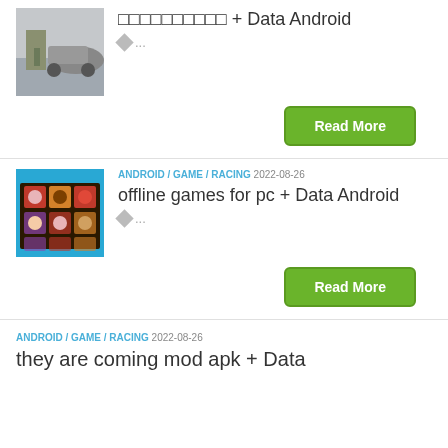[Figure (photo): Thumbnail image of a person standing near a car]
□□□□□□□□□□ + Data Android
◆ ...
Read More
[Figure (photo): Thumbnail image of a box of chocolates]
ANDROID / GAME / RACING 2022-08-26
offline games for pc + Data Android
◆ ...
Read More
ANDROID / GAME / RACING 2022-08-26
they are coming mod apk + Data